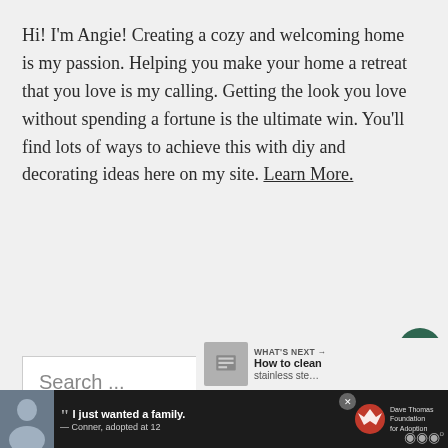Hi! I'm Angie! Creating a cozy and welcoming home is my passion. Helping you make your home a retreat that you love is my calling. Getting the look you love without spending a fortune is the ultimate win. You'll find lots of ways to achieve this with diy and decorating ideas here on my site. Learn More.
Search ...
[Figure (screenshot): What's Next promo bar showing a thumbnail and 'How to clean' text]
[Figure (screenshot): Advertisement banner: Dave Thomas Foundation for Adoption quote by Conner, adopted at 12]